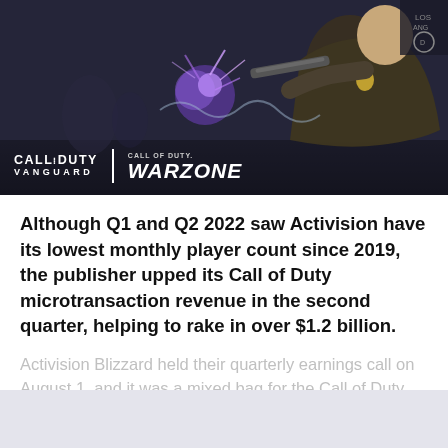[Figure (photo): Hero image from Call of Duty Vanguard and Warzone game, showing a police officer character with a weapon, action scene with purple/blue explosive effects. Game logos for Call of Duty Vanguard and Call of Duty Warzone displayed in bottom-left.]
Although Q1 and Q2 2022 saw Activision have its lowest monthly player count since 2019, the publisher upped its Call of Duty microtransaction revenue in the second quarter, helping to rake in over $1.2 billion.
Activision Blizzard held their quarterly earnings call on August 1, and it was a mixed bag for the Call of Duty
CONTINUE READING